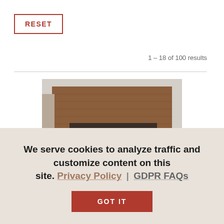RESET
1 – 18 of 100 results
[Figure (photo): Exterior photo of a 'Seasons @ Home' retail store with brick facade, large glass windows, and shoppers walking in front]
We serve cookies to analyze traffic and customize content on this site. Privacy Policy | GDPR FAQs
GOT IT